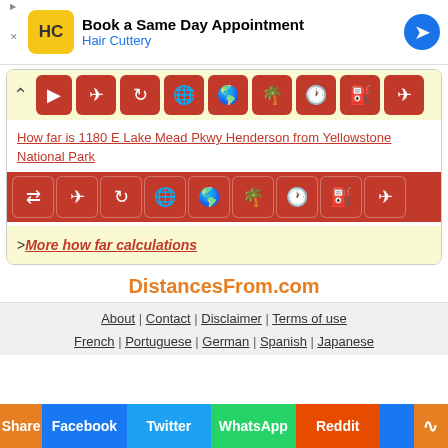[Figure (screenshot): Advertisement banner for Hair Cuttery: Book a Same Day Appointment]
[Figure (screenshot): Row of orange travel/navigation icon buttons (airplane, turn, globe, palm tree, clock, fuel pump, etc.)]
How far is 1180 E Lake Mead Pkwy Henderson from Yellowstone National Park
[Figure (screenshot): Second row of orange travel/navigation icon buttons]
>More how far calculations
DistancesFrom.com
About | Contact | Disclaimer | Terms of use
French | Portuguese | German | Spanish | Japanese
[Figure (screenshot): Social share bar: Share, Facebook, Twitter, WhatsApp, Reddit buttons]